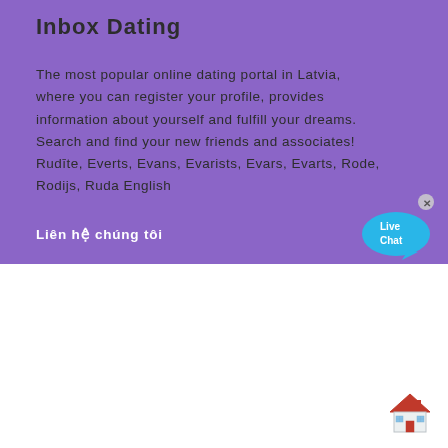Inbox Dating
The most popular online dating portal in Latvia, where you can register your profile, provides information about yourself and fulfill your dreams. Search and find your new friends and associates! Rudīte, Everts, Evans, Evarists, Evars, Evarts, Rode, Rodijs, Ruda English
[Figure (illustration): Live Chat speech bubble widget with cyan/blue color and an x close button]
Liên hệ chúng tôi
[Figure (illustration): Small red house icon in the bottom right corner of the white section]